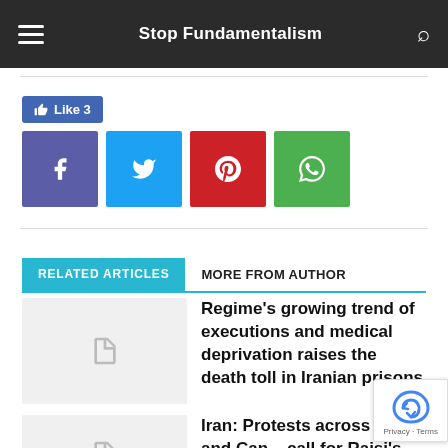Stop Fundamentalism
[Figure (other): Social share buttons: Like 3 (Facebook), Facebook, Twitter, Pinterest, WhatsApp]
RELATED ARTICLES | MORE FROM AUTHOR
Regime's growing trend of executions and medical deprivation raises the death toll in Iranian prisons
Iran: Protests across EU and Can... call for Raisi's exclusion from the UN...